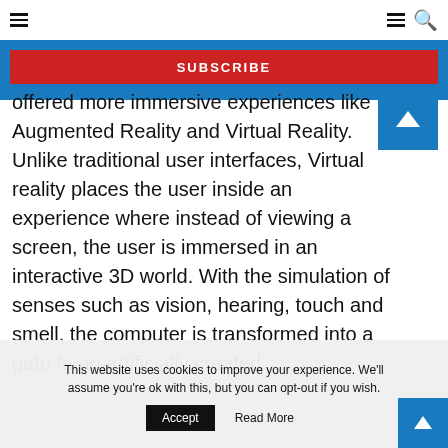Navigation bar with hamburger menu and search icons
SUBSCRIBE
offered more immersive experiences like Augmented Reality and Virtual Reality. Unlike traditional user interfaces, Virtual reality places the user inside an experience where instead of viewing a screen, the user is immersed in an interactive 3D world. With the simulation of senses such as vision, hearing, touch and smell, the computer is transformed into a gate to an artificially created
This website uses cookies to improve your experience. We'll assume you're ok with this, but you can opt-out if you wish. Accept Read More